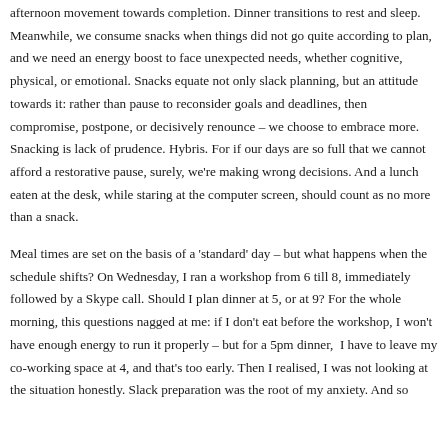afternoon movement towards completion. Dinner transitions to rest and sleep. Meanwhile, we consume snacks when things did not go quite according to plan, and we need an energy boost to face unexpected needs, whether cognitive, physical, or emotional. Snacks equate not only slack planning, but an attitude towards it: rather than pause to reconsider goals and deadlines, then compromise, postpone, or decisively renounce – we choose to embrace more. Snacking is lack of prudence. Hybris. For if our days are so full that we cannot afford a restorative pause, surely, we're making wrong decisions. And a lunch eaten at the desk, while staring at the computer screen, should count as no more than a snack.
Meal times are set on the basis of a 'standard' day – but what happens when the schedule shifts? On Wednesday, I ran a workshop from 6 till 8, immediately followed by a Skype call. Should I plan dinner at 5, or at 9? For the whole morning, this questions nagged at me: if I don't eat before the workshop, I won't have enough energy to run it properly – but for a 5pm dinner, I have to leave my co-working space at 4, and that's too early. Then I realised, I was not looking at the situation honestly. Slack preparation was the root of my anxiety. And so